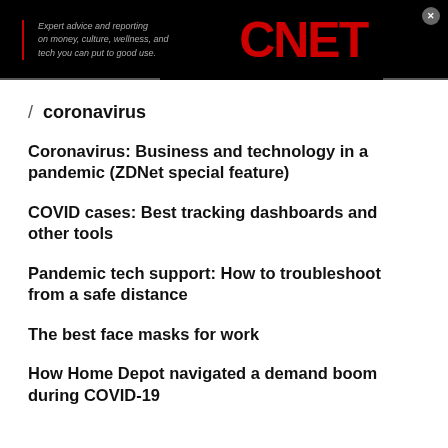[Figure (logo): CNET website header banner with CNET logo in red and tagline: Expert advice and reporting on money, culture, wellness, and tech you can put to good use.]
/ coronavirus
Coronavirus: Business and technology in a pandemic (ZDNet special feature)
COVID cases: Best tracking dashboards and other tools
Pandemic tech support: How to troubleshoot from a safe distance
The best face masks for work
How Home Depot navigated a demand boom during COVID-19